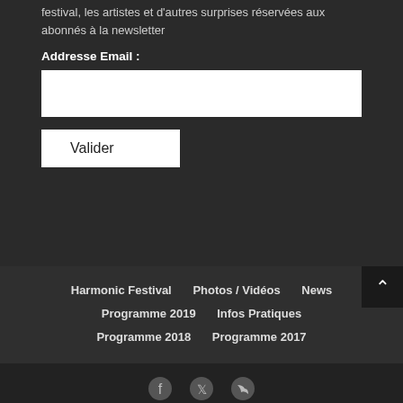festival, les artistes et d'autres surprises réservées aux abonnés à la newsletter
Addresse Email :
[Figure (other): Email input text field (white rectangle)]
[Figure (other): Valider submit button (white rectangle with black text)]
Harmonic Festival   Photos / Vidéos   News   Programme 2019   Infos Pratiques   Programme 2018   Programme 2017
[Figure (other): Social media icons: Facebook, Twitter, RSS feed]
Design 2020 by Harmonic Team